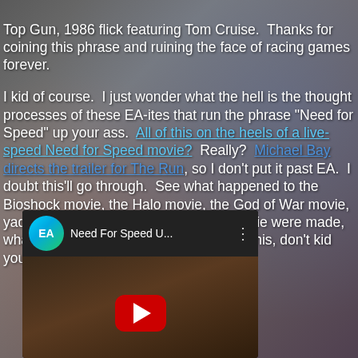[Figure (photo): Background image showing racing game boxes and cars, semi-transparent overlay behind text]
Top Gun, 1986 flick featuring Tom Cruise.  Thanks for coining this phrase and ruining the face of racing games forever.

I kid of course.  I just wonder what the hell is the thought processes of these EA-ites that run the phrase "Need for Speed" up your ass.  All of this on the heels of a live-speed Need for Speed movie?  Really?  Michael Bay directs the trailer for The Run, so I don't put it past EA.  I doubt this'll go through.  See what happened to the Bioshock movie, the Halo movie, the God of War movie, yada yada yada.  And even if a NFS movie were made, what would it be like?  It would look like this, don't kid yourself:
[Figure (screenshot): YouTube embedded video player showing 'Need For Speed U...' with EA logo, play button over dark cinematic thumbnail]